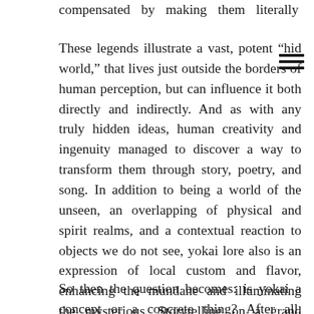compensated by making them literally happen.
These legends illustrate a vast, potent “hid world,” that lives just outside the borders of human perception, but can influence it both directly and indirectly. And as with any truly hidden ideas, human creativity and ingenuity managed to discover a way to transform them through story, poetry, and song. In addition to being a world of the unseen, an overlapping of physical and spirit realms, and a contextual reaction to objects we do not see, yokai lore also is an expression of local custom and flavor, enhancing the mundane and illuminating the mysterious. Storytelling on a grand scale, that reflects the culture that tells it, but also leaves plenty of room for variation and re-interpretation as time goes by.
So then the question becomes: is yokai a concept or a concrete thing? After all, Western audiences love to...